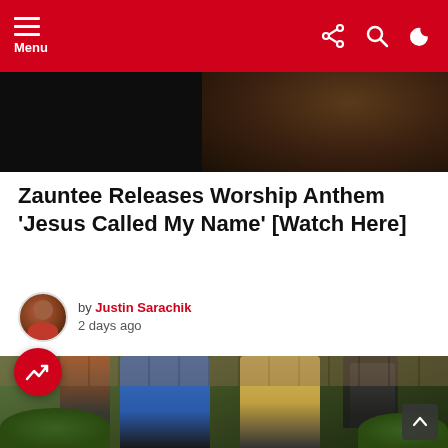Menu
[Figure (photo): Dark cropped image showing a person's black jacket/clothing and textured dark background, top portion of article hero image]
Zauntee Releases Worship Anthem ‘Jesus Called My Name’ [Watch Here]
by Justin Sarachik
2 days ago
[Figure (photo): Group of men standing outside a brick building. Two men in foreground: left man in blue jacket and white shirt with sunglasses, right man in yellow/beige patterned jacket holding microphone with yellow sunglasses and dreadlocks. Several people visible in background.]